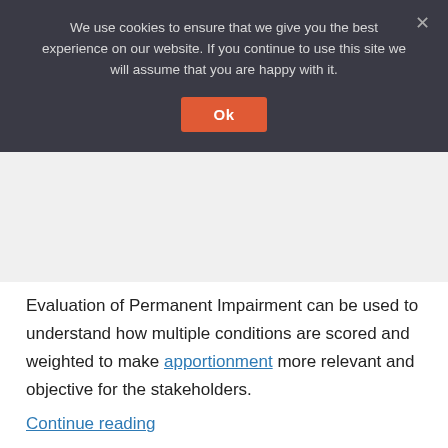We use cookies to ensure that we give you the best experience on our website. If you continue to use this site we will assume that you are happy with it.
Evaluation of Permanent Impairment can be used to understand how multiple conditions are scored and weighted to make apportionment more relevant and objective for the stakeholders.
Continue reading
CATEGORIES FOR PHYSICIANS